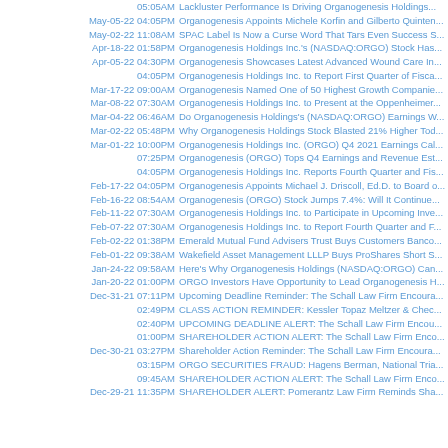05:05AM Lackluster Performance Is Driving Organogenesis Holdings...
May-05-22 04:05PM Organogenesis Appoints Michele Korfin and Gilberto Quinten...
May-02-22 11:08AM SPAC Label Is Now a Curse Word That Tars Even Success S...
Apr-18-22 01:58PM Organogenesis Holdings Inc.'s (NASDAQ:ORGO) Stock Has...
Apr-05-22 04:30PM Organogenesis Showcases Latest Advanced Wound Care In...
04:05PM Organogenesis Holdings Inc. to Report First Quarter of Fisca...
Mar-17-22 09:00AM Organogenesis Named One of 50 Highest Growth Companie...
Mar-08-22 07:30AM Organogenesis Holdings Inc. to Present at the Oppenheimer...
Mar-04-22 06:46AM Do Organogenesis Holdings's (NASDAQ:ORGO) Earnings W...
Mar-02-22 05:48PM Why Organogenesis Holdings Stock Blasted 21% Higher Tod...
Mar-01-22 10:00PM Organogenesis Holdings Inc. (ORGO) Q4 2021 Earnings Cal...
07:25PM Organogenesis (ORGO) Tops Q4 Earnings and Revenue Est...
04:05PM Organogenesis Holdings Inc. Reports Fourth Quarter and Fis...
Feb-17-22 04:05PM Organogenesis Appoints Michael J. Driscoll, Ed.D. to Board o...
Feb-16-22 08:54AM Organogenesis (ORGO) Stock Jumps 7.4%: Will It Continue...
Feb-11-22 07:30AM Organogenesis Holdings Inc. to Participate in Upcoming Inve...
Feb-07-22 07:30AM Organogenesis Holdings Inc. to Report Fourth Quarter and F...
Feb-02-22 01:38PM Emerald Mutual Fund Advisers Trust Buys Customers Banco...
Feb-01-22 09:38AM Wakefield Asset Management LLLP Buys ProShares Short S...
Jan-24-22 09:58AM Here's Why Organogenesis Holdings (NASDAQ:ORGO) Can...
Jan-20-22 01:00PM ORGO Investors Have Opportunity to Lead Organogenesis H...
Dec-31-21 07:11PM Upcoming Deadline Reminder: The Schall Law Firm Encoura...
02:49PM CLASS ACTION REMINDER: Kessler Topaz Meltzer & Chec...
02:40PM UPCOMING DEADLINE ALERT: The Schall Law Firm Encou...
01:00PM SHAREHOLDER ACTION ALERT: The Schall Law Firm Enco...
Dec-30-21 03:27PM Shareholder Action Reminder: The Schall Law Firm Encoura...
03:15PM ORGO SECURITIES FRAUD: Hagens Berman, National Tria...
09:45AM SHAREHOLDER ACTION ALERT: The Schall Law Firm Enco...
Dec-29-21 11:35PM SHAREHOLDER ALERT: Pomerantz Law Firm Reminds Sha...